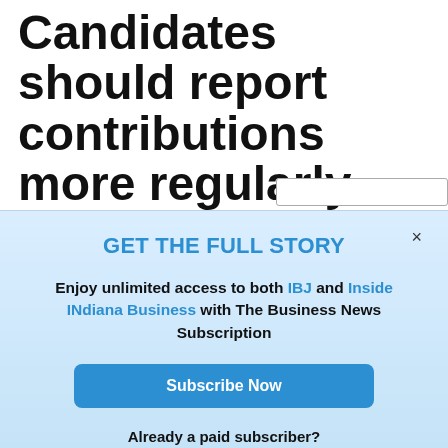Candidates should report contributions more regularly
May 14, 2021 | Jennifer Wagner Chartier/ Special to IBJ
GET THE LATEST IBJ NEWS IN YOUR INBOX
GET THE FULL STORY
Enjoy unlimited access to both IBJ and Inside INdiana Business with The Business News Subscription
Subscribe Now
Already a paid subscriber?
Log In